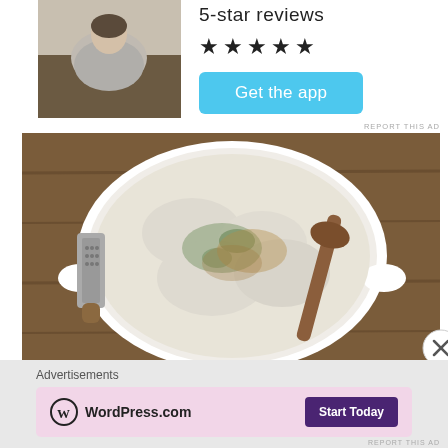5-star reviews
[Figure (photo): Person viewed from behind sitting or kneeling, wearing a grey t-shirt, outdoors with soil/dirt visible]
★★★★★
[Figure (other): Get the app button - light blue rounded rectangle button]
REPORT THIS AD
[Figure (photo): Overhead view of a white ceramic baking dish containing mashed or creamed food (possibly cauliflower or mashed potato) garnished with herbs, with a wooden spoon, on a wooden surface. A metal grater/tool visible to the left.]
[Figure (other): Close/X button circle icon]
Advertisements
[Figure (logo): WordPress.com advertisement with logo and Start Today button on pink background]
REPORT THIS AD